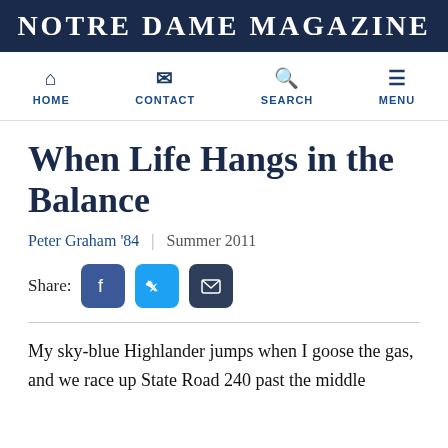Notre Dame Magazine
[Figure (screenshot): Navigation bar with HOME, CONTACT, SEARCH, MENU icons]
When Life Hangs in the Balance
Peter Graham '84  |  Summer 2011
[Figure (infographic): Share buttons: Facebook, Twitter, Email]
My sky-blue Highlander jumps when I goose the gas, and we race up State Road 240 past the middle